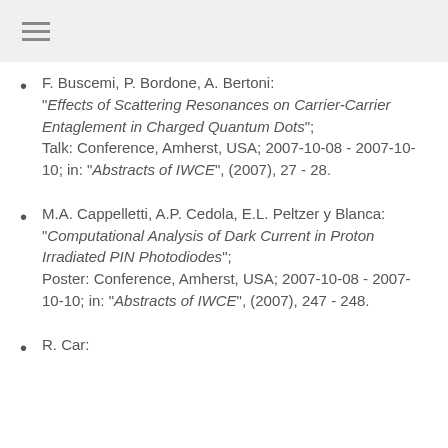F. Buscemi, P. Bordone, A. Bertoni: "Effects of Scattering Resonances on Carrier-Carrier Entaglement in Charged Quantum Dots"; Talk: Conference, Amherst, USA; 2007-10-08 - 2007-10-10; in: "Abstracts of IWCE", (2007), 27 - 28.
M.A. Cappelletti, A.P. Cedola, E.L. Peltzer y Blanca: "Computational Analysis of Dark Current in Proton Irradiated PIN Photodiodes"; Poster: Conference, Amherst, USA; 2007-10-08 - 2007-10-10; in: "Abstracts of IWCE", (2007), 247 - 248.
R. Car: